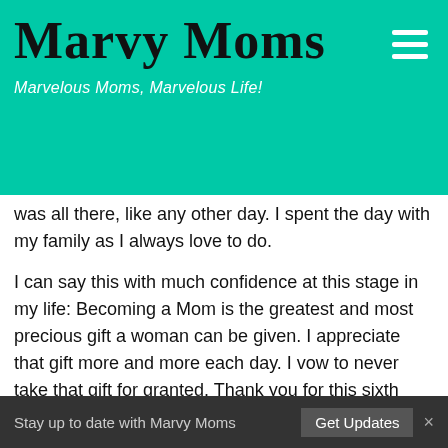Marvy Moms — Marvelous Moms, Marvelous Life!
was all there, like any other day. I spent the day with my family as I always love to do.
I can say this with much confidence at this stage in my life: Becoming a Mom is the greatest and most precious gift a woman can be given. I appreciate that gift more and more each day. I vow to never take that gift for granted. Thank you for this sixth Mother's Day. Thank you for the gift of children.
How did you spend your Mother's Day? Was it your first? We
Stay up to date with Marvy Moms  Get Updates  ×